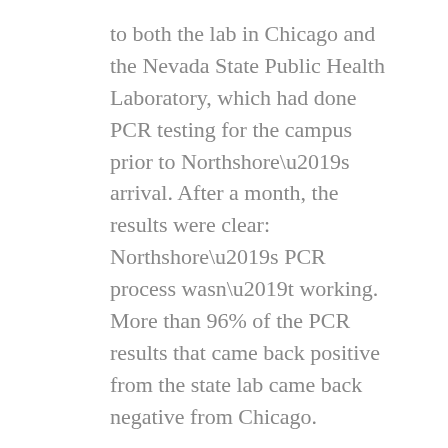to both the lab in Chicago and the Nevada State Public Health Laboratory, which had done PCR testing for the campus prior to Northshore's arrival. After a month, the results were clear: Northshore's PCR process wasn't working. More than 96% of the PCR results that came back positive from the state lab came back negative from Chicago.
Kerwin and Hug-English again tried to get answers from Northshore. Kerwin asked if the company was seeing similar problems at any of its other testing sites across the country.
“Oh, no, this is just a weird thing going on in Washoe,” Kerwin said she was told.
“I’m like, science says that’s probably not true. But they weren’t going to be any kind of transparent with us about the real reasons.”